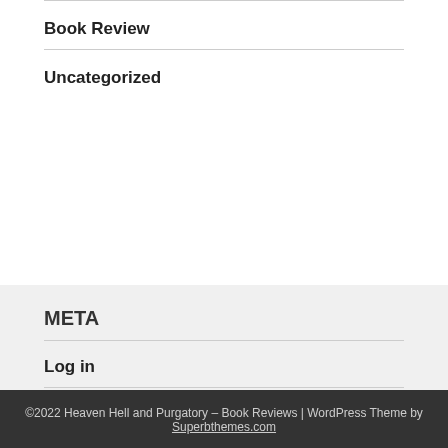Book Review
Uncategorized
META
Log in
Entries RSS
WordPress.org
©2022 Heaven Hell and Purgatory – Book Reviews | WordPress Theme by Superbthemes.com